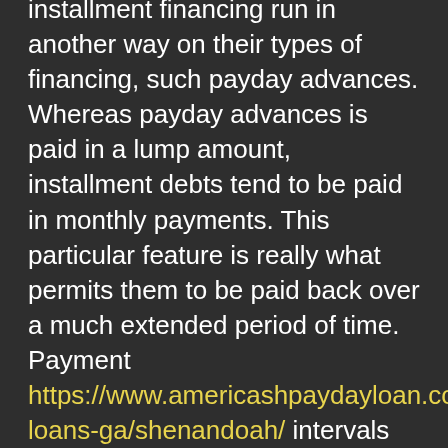installment financing run in another way on their types of financing, such payday advances. Whereas payday advances is paid in a lump amount, installment debts tend to be paid in monthly payments. This particular feature is really what permits them to be paid back over a much extended period of time. Payment https://www.americashpaydayloan.com/payday-loans-ga/shenandoah/ intervals on personal loans normally vary from 90 days to 72 several months.
Occasionally these signature loans is for small quantities of $500, nevertheless they can go up to $35,000 with a few loan providers. The particular quantity available to you shall be mostly dependent upon your credit ratings. This is often mitigated rather by secured finance (where you supply collateral). However, most installment financing are short term loans.
Because these installment debts are unsecured, that